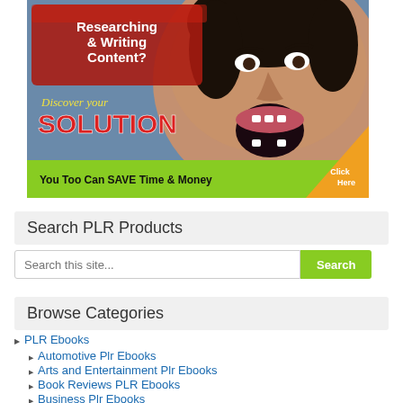[Figure (illustration): Promotional banner showing a screaming woman with text 'Researching & Writing Content? Discover your SOLUTION You Too Can SAVE Time & Money Click Here' on a blue-grey background with red brushstroke, yellow italic script, red bold SOLUTION text, green bottom bar, and orange click-here triangle button.]
Search PLR Products
Search this site...
Browse Categories
PLR Ebooks
Automotive Plr Ebooks
Arts and Entertainment Plr Ebooks
Book Reviews PLR Ebooks
Business Plr Ebooks